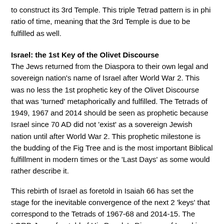to construct its 3rd Temple. This triple Tetrad pattern is in phi ratio of time, meaning that the 3rd Temple is due to be fulfilled as well.
Israel: the 1st Key of the Olivet Discourse
The Jews returned from the Diaspora to their own legal and sovereign nation's name of Israel after World War 2. This was no less the 1st prophetic key of the Olivet Discourse that was 'turned' metaphorically and fulfilled. The Tetrads of 1949, 1967 and 2014 should be seen as prophetic because Israel since 70 AD did not 'exist' as a sovereign Jewish nation until after World War 2. This prophetic milestone is the budding of the Fig Tree and is the most important Biblical fulfillment in modern times or the 'Last Days' as some would rather describe it.
This rebirth of Israel as foretold in Isaiah 66 has set the stage for the inevitable convergence of the next 2 'keys' that correspond to the Tetrads of 1967-68 and 2014-15. The LORD Jesus foretold of His People's Diaspora of Israel in the context of the Olivet Discourse. The Messiah described how Jerusalem was to be surrounded and destroyed. Also, that none of the stones of the 2nd Temple would be left unturned. This is specifically pertaining to the platform. There was to be a coming judgment and destruction and eventual expulsion of the Jews from Judea and Samaria. The Romans would later set up a temple of Jupiter on the